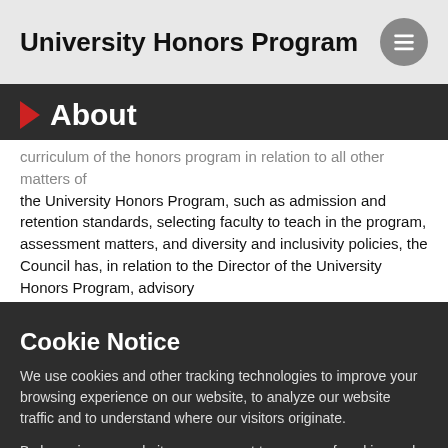University Honors Program
About
curriculum of the honors program in relation to all other matters of the University Honors Program, such as admission and retention standards, selecting faculty to teach in the program, assessment matters, and diversity and inclusivity policies, the Council has, in relation to the Director of the University Honors Program, advisory
Cookie Notice
We use cookies and other tracking technologies to improve your browsing experience on our website, to analyze our website traffic and to understand where our visitors originate.
By browsing our website, you consent to our use of cookies and other tracking technologies. For more about the information SIUE collects, visit our Web Privacy Notice.